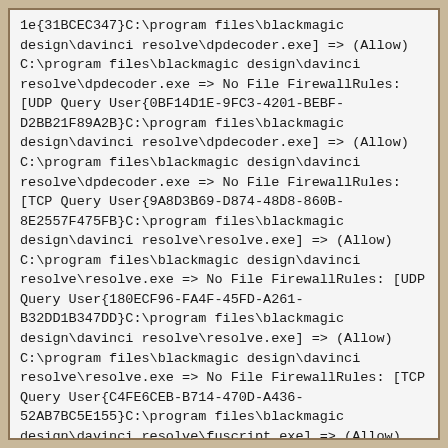1e{31BCEC347}C:\program files\blackmagic design\davinci resolve\dpdecoder.exe] => (Allow) C:\program files\blackmagic design\davinci resolve\dpdecoder.exe => No File FirewallRules: [UDP Query User{0BF14D1E-9FC3-4201-BEBF-D2BB21F89A2B}C:\program files\blackmagic design\davinci resolve\dpdecoder.exe] => (Allow) C:\program files\blackmagic design\davinci resolve\dpdecoder.exe => No File FirewallRules: [TCP Query User{9A8D3B69-D874-48D8-860B-8E2557F475FB}C:\program files\blackmagic design\davinci resolve\resolve.exe] => (Allow) C:\program files\blackmagic design\davinci resolve\resolve.exe => No File FirewallRules: [UDP Query User{180ECF96-FA4F-45FD-A261-B32DD1B347DD}C:\program files\blackmagic design\davinci resolve\resolve.exe] => (Allow) C:\program files\blackmagic design\davinci resolve\resolve.exe => No File FirewallRules: [TCP Query User{C4FE6CEB-B714-470D-A436-52AB7BC5E155}C:\program files\blackmagic design\davinci resolve\fuscript.exe] => (Allow) C:\program files\blackmagic design\davinci resolve\fuscript.exe => No File FirewallRules: [UDP Query User{B7A79C89-D300-4E07-9A26-04DA5803FD50}C:\program files\blackmagic design\davinci resolve\fuscript.exe] => (Allow) C:\program files\blackmagic design\davinci resolve\fuscript.exe => No File FirewallRules: [{343A8CA4-9762-4756-9ACB-6E66B31EE737}] =>